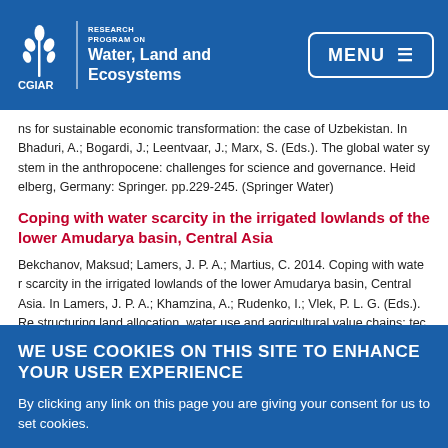CGIAR Research Program on Water, Land and Ecosystems | MENU
ns for sustainable economic transformation: the case of Uzbekistan. In Bhaduri, A.; Bogardi, J.; Leentvaar, J.; Marx, S. (Eds.). The global water system in the anthropocene: challenges for science and governance. Heidelberg, Germany: Springer. pp.229-245. (Springer Water)
Coping with water scarcity in the irrigated lowlands of the lower Amudarya basin, Central Asia
Bekchanov, Maksud; Lamers, J. P. A.; Martius, C. 2014. Coping with water scarcity in the irrigated lowlands of the lower Amudarya basin, Central Asia. In Lamers, J. P. A.; Khamzina, A.; Rudenko, I.; Vlek, P. L. G. (Eds.). Restructuring land allocation, water use and agricultural value chains: technologies, policies and practices for the lower Amudarya region. Bonn, Germany: Bonn University Press. pp.199-216.
WE USE COOKIES ON THIS SITE TO ENHANCE YOUR USER EXPERIENCE
By clicking any link on this page you are giving your consent for us to set cookies.